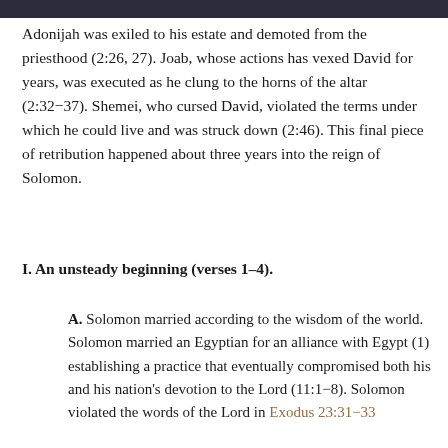Adonijah was exiled to his estate and demoted from the priesthood (2:26, 27). Joab, whose actions has vexed David for years, was executed as he clung to the horns of the altar (2:32-37). Shemei, who cursed David, violated the terms under which he could live and was struck down (2:46). This final piece of retribution happened about three years into the reign of Solomon.
I. An unsteady beginning (verses 1–4).
A. Solomon married according to the wisdom of the world. Solomon married an Egyptian for an alliance with Egypt (1) establishing a practice that eventually compromised both his and his nation's devotion to the Lord (11:1-8). Solomon violated the words of the Lord in Exodus 23:31-33